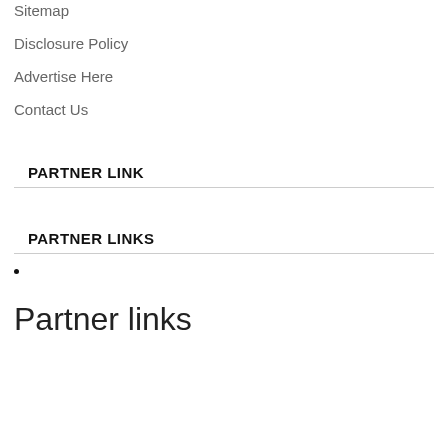Sitemap
Disclosure Policy
Advertise Here
Contact Us
PARTNER LINK
PARTNER LINKS
Partner links